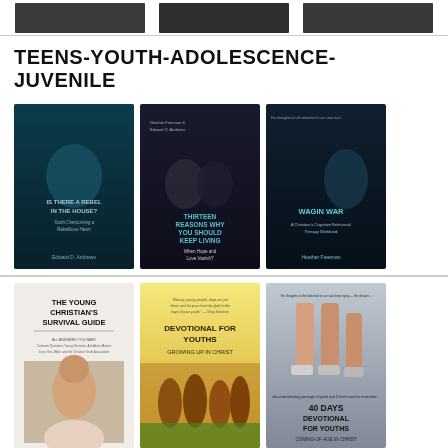[Figure (illustration): Three dark book cover thumbnails in a horizontal strip at the top of the page]
TEENS-YOUTH-ADOLESCENCE-JUVENILE
[Figure (illustration): Book cover: IS THERE A REBEL IN THE HOUSE? Youth Overcoming a Rebellious Heart — Edward D. Andrews. Dark teal with hooded teen.]
[Figure (illustration): Book cover: THIRTEEN REASONS WHY YOU SHOULD KEEP LIVING When Hope and Love Vanish? — Heather Freeman & Edward D. Andrews. Dark with two women.]
[Figure (illustration): Book cover: WAGING WAR A Christian's Cognitive Behavioral Therapy Workbook — Heather Freeman. Dark with girl.]
[Figure (illustration): Book cover: THE YOUNG CHRISTIAN'S SURVIVAL GUIDE — smiling young woman in classroom setting.]
[Figure (illustration): Book cover: DEVOTIONAL FOR YOUTHS GROWING UP IN CHRIST — yellow cover with youth group.]
[Figure (illustration): Book cover: 40 DAYS DEVOTIONAL FOR YOUTHS COMING-OF-AGE IN CHRIST — grey cover with teen legs.]